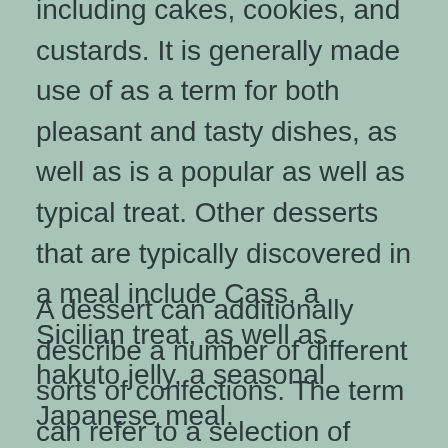including cakes, cookies, and custards. It is generally made use of as a term for both pleasant and tasty dishes, as well as is a popular as well as typical treat. Other desserts that are typically discovered in a meal include Cass, a Sicilian treat, as well as hakuto jelly, a seasonal Japanese meal.
A dessert can additionally describe a number of different sorts of confections. The term can refer to a selection of confections, from biscuits as well as cakes to gelato and also brulees. In many cultures, it is common for fruit to make up a dessert. Some cultures also sweeten